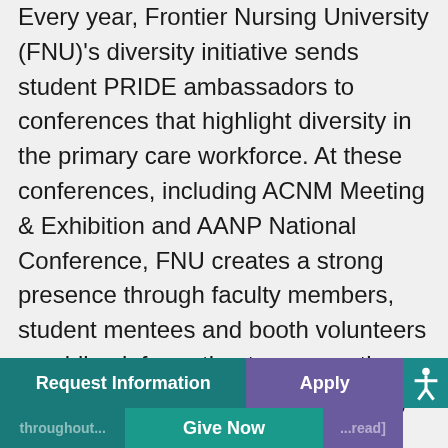Every year, Frontier Nursing University (FNU)'s diversity initiative sends student PRIDE ambassadors to conferences that highlight diversity in the primary care workforce. At these conferences, including ACNM Meeting & Exhibition and AANP National Conference, FNU creates a strong presence through faculty members, student mentees and booth volunteers providing information to prospective students. FNU made strong showings at the NAHN and NNBA Annual Conference and throughout...
Request Information | Apply | Give Now